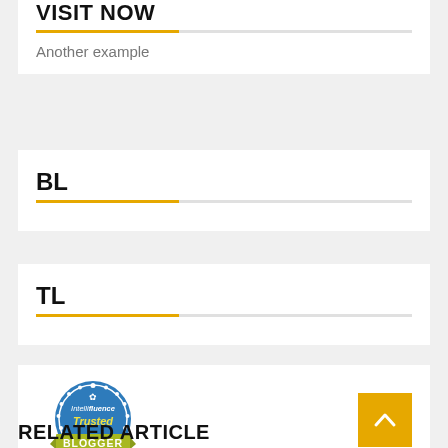VISIT NOW
Another example
BL
TL
[Figure (logo): Intellifluence Trusted Blogger badge - circular blue badge with gold ribbon banner saying BLOGGER]
RELATED ARTICLE